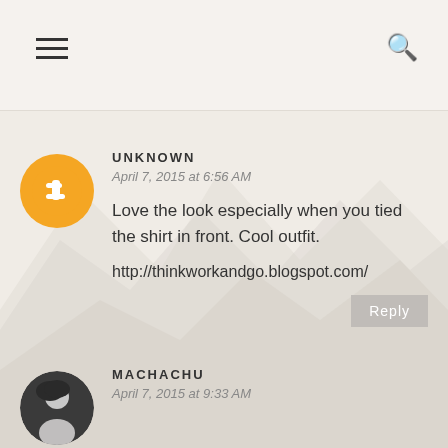≡  🔍
UNKNOWN
April 7, 2015 at 6:56 AM

Love the look especially when you tied the shirt in front. Cool outfit.

http://thinkworkandgo.blogspot.com/
MACHACHU
April 7, 2015 at 9:33 AM